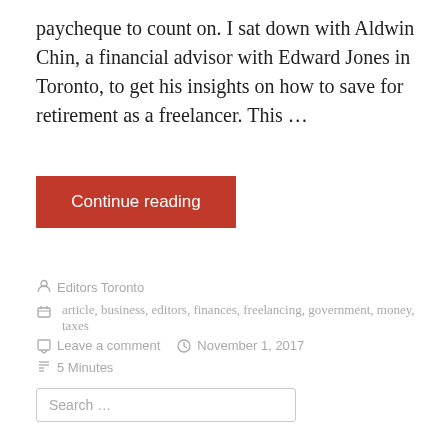paycheque to count on. I sat down with Aldwin Chin, a financial advisor with Edward Jones in Toronto, to get his insights on how to save for retirement as a freelancer. This ...
Continue reading
Editors Toronto
article, business, editors, finances, freelancing, government, money, taxes
Leave a comment   November 1, 2017
5 Minutes
Search ...